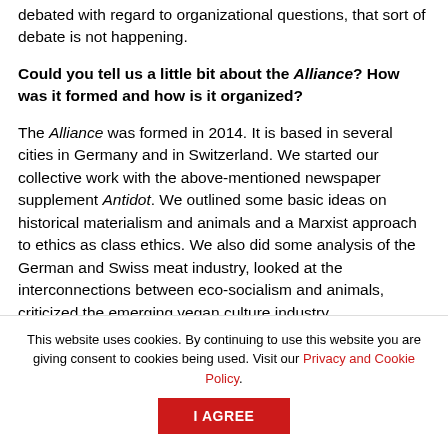debated with regard to organizational questions, that sort of debate is not happening.
Could you tell us a little bit about the Alliance? How was it formed and how is it organized?
The Alliance was formed in 2014. It is based in several cities in Germany and in Switzerland. We started our collective work with the above-mentioned newspaper supplement Antidot. We outlined some basic ideas on historical materialism and animals and a Marxist approach to ethics as class ethics. We also did some analysis of the German and Swiss meat industry, looked at the interconnections between eco-socialism and animals, criticized the emerging vegan culture industry
This website uses cookies. By continuing to use this website you are giving consent to cookies being used. Visit our Privacy and Cookie Policy.